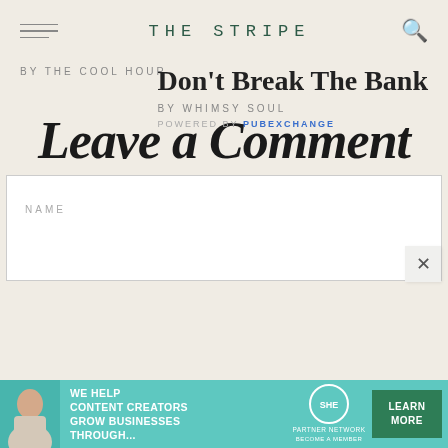THE STRIPE
BY THE COOL HOUR
Don't Break The Bank
BY WHIMSY SOUL
POWERED BY PUBEXCHANGE
Leave a Comment
NAME
[Figure (screenshot): Advertisement banner: SHE Media Partner Network - We help content creators grow businesses through... with Learn More button]